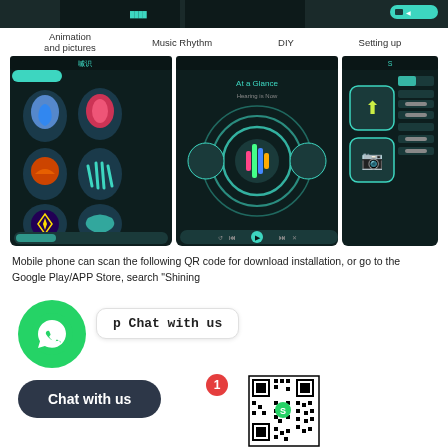[Figure (screenshot): Top strip showing partial app screenshots on dark background]
Animation and pictures    Music Rhythm    DIY    Setting up
[Figure (screenshot): Four mobile app screenshots showing: Animation and pictures screen with glowing icons, Music Rhythm screen with circular visualizer, DIY screen with upload/camera buttons, Setting up screen with settings list. All on dark teal background.]
Mobile phone can scan the following QR code for download installation, or go to the Google Play/APP Store, search "Shining
[Figure (other): WhatsApp chat widget with green WhatsApp icon, 'Chat with us' bubble in monospace font, dark rounded 'Chat with us' button with red badge showing '1', and QR code for app download]